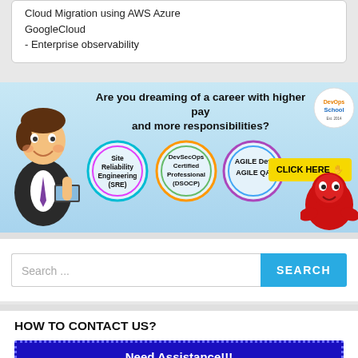Cloud Migration using AWS Azure GoogleCloud
- Enterprise observability
[Figure (infographic): DevOps school advertisement banner. Text: 'Are you dreaming of a career with higher pay and more responsibilities?' Three circles: Site Reliability Engineering (SRE), DevSecOps Certified Professional (DSOCP), AGILE Dev AGILE QA. CLICK HERE button. DevOps school logo. Cartoon characters.]
Search ...
HOW TO CONTACT US?
Need Assistance!!!